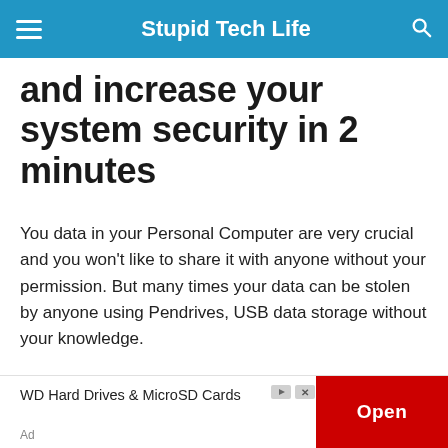Stupid Tech Life
and increase your system security in 2 minutes
You data in your Personal Computer are very crucial and you won't like to share it with anyone without your permission. But many times your data can be stolen by anyone using Pendrives, USB data storage without your knowledge.
WD Hard Drives & MicroSD Cards
Ad
Open